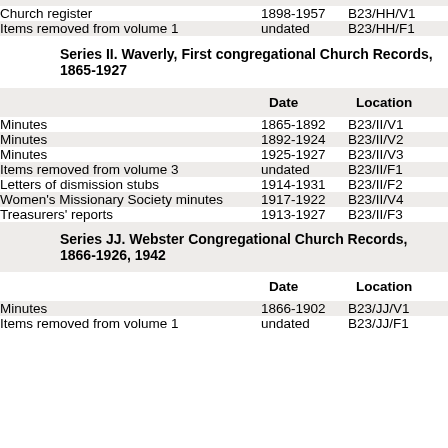|  | Date | Location |
| --- | --- | --- |
| Church register | 1898-1957 | B23/HH/V1 |
| Items removed from volume 1 | undated | B23/HH/F1 |
Series II. Waverly, First congregational Church Records, 1865-1927
|  | Date | Location |
| --- | --- | --- |
| Minutes | 1865-1892 | B23/II/V1 |
| Minutes | 1892-1924 | B23/II/V2 |
| Minutes | 1925-1927 | B23/II/V3 |
| Items removed from volume 3 | undated | B23/II/F1 |
| Letters of dismission stubs | 1914-1931 | B23/II/F2 |
| Women's Missionary Society minutes | 1917-1922 | B23/II/V4 |
| Treasurers' reports | 1913-1927 | B23/II/F3 |
Series JJ. Webster Congregational Church Records, 1866-1926, 1942
|  | Date | Location |
| --- | --- | --- |
| Minutes | 1866-1902 | B23/JJ/V1 |
| Items removed from volume 1 | undated | B23/JJ/F1 |